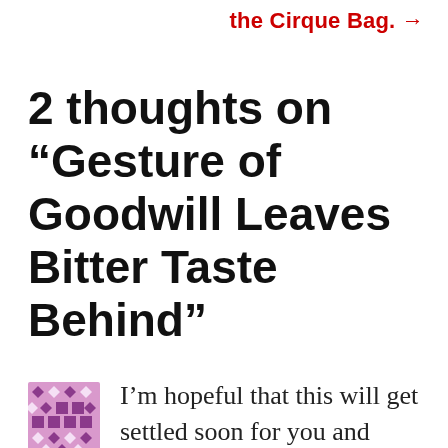the Cirque Bag. →
2 thoughts on “Gesture of Goodwill Leaves Bitter Taste Behind”
I’m hopeful that this will get settled soon for you and